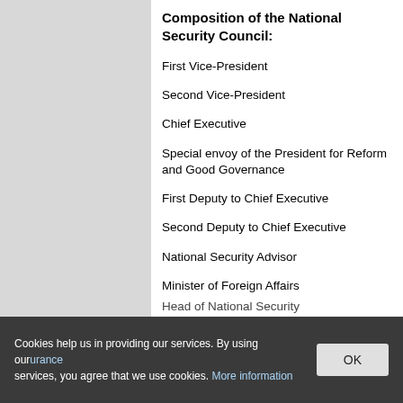Composition of the National Security Council:
First Vice-President
Second Vice-President
Chief Executive
Special envoy of the President for Reform and Good Governance
First Deputy to Chief Executive
Second Deputy to Chief Executive
National Security Advisor
Minister of Foreign Affairs
Minister of Defense
Minister of Interior
Head of National Security
Cookies help us in providing our services. By using our services, you agree that we use cookies. More information